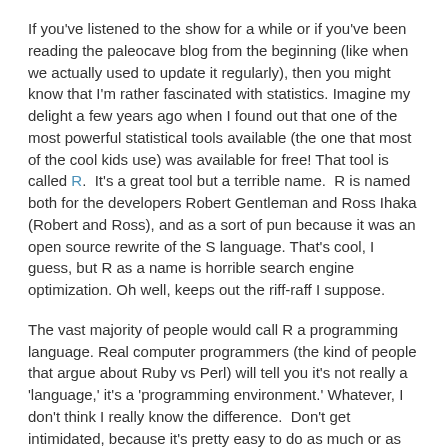If you've listened to the show for a while or if you've been reading the paleocave blog from the beginning (like when we actually used to update it regularly), then you might know that I'm rather fascinated with statistics. Imagine my delight a few years ago when I found out that one of the most powerful statistical tools available (the one that most of the cool kids use) was available for free! That tool is called R.  It's a great tool but a terrible name.  R is named both for the developers Robert Gentleman and Ross Ihaka (Robert and Ross), and as a sort of pun because it was an open source rewrite of the S language. That's cool, I guess, but R as a name is horrible search engine optimization. Oh well, keeps out the riff-raff I suppose.
The vast majority of people would call R a programming language. Real computer programmers (the kind of people that argue about Ruby vs Perl) will tell you it's not really a 'language,' it's a 'programming environment.' Whatever, I don't think I really know the difference.  Don't get intimidated, because it's pretty easy to do as much or as little as you want in R.